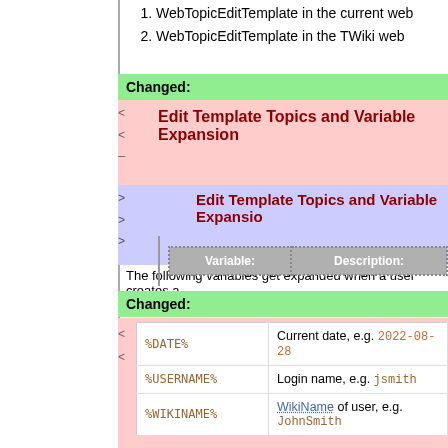If no web is specified, the current web is searched
1. WebTopicEditTemplate in the current web
2. WebTopicEditTemplate in the TWiki web
Changed:
Edit Template Topics and Variable Expansion
Edit Template Topics and Variable Expansion
The following variables get expanded when a user creates a
| Variable: | Description: |
| --- | --- |
Changed:
| %DATE% | Current date, e.g. 2022-08-28 |
| %USERNAME% | Login name, e.g. jsmith |
| %WIKINAME% | WikiName of user, e.g. JohnSmith |